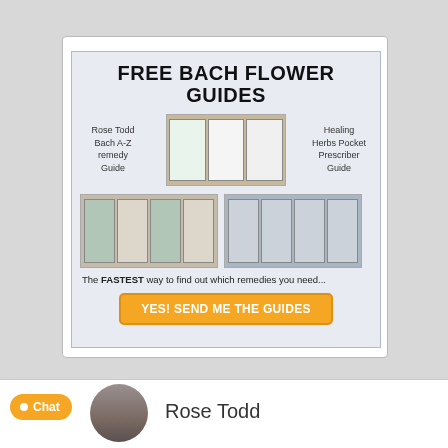[Figure (infographic): Advertisement for Free Bach Flower Guides showing brochure images, two open booklet photos, a CTA button, and descriptive text. Rose Todd Bach A-Z remedy Guide and Healing Herbs Pocket Prescriber Guide are named. Button says YES! SEND ME THE GUIDES.]
Chat  Rose Todd